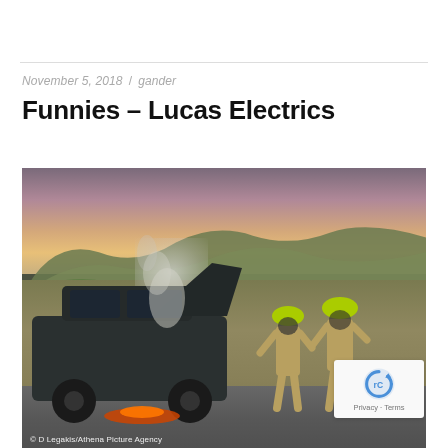November 5, 2018 / gander
Funnies – Lucas Electrics
[Figure (photo): A Land Rover SUV on fire on a road in a moorland landscape, with two firefighters in yellow helmets and protective gear attending to the blaze. Smoke rises from the engine bay which is open. The background shows rolling hills and a dramatic sunset sky.]
© D Legakis/Athena Picture Agency